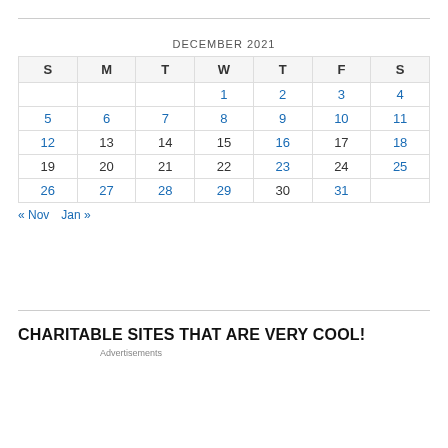DECEMBER 2021
| S | M | T | W | T | F | S |
| --- | --- | --- | --- | --- | --- | --- |
|  |  |  | 1 | 2 | 3 | 4 |
| 5 | 6 | 7 | 8 | 9 | 10 | 11 |
| 12 | 13 | 14 | 15 | 16 | 17 | 18 |
| 19 | 20 | 21 | 22 | 23 | 24 | 25 |
| 26 | 27 | 28 | 29 | 30 | 31 |  |
« Nov   Jan »
CHARITABLE SITES THAT ARE VERY COOL!
Advertisements
[Figure (screenshot): DuckDuckGo advertisement banner: orange background with text 'Search, browse, and email with more privacy. All in One Free App' and a smartphone showing DuckDuckGo logo]